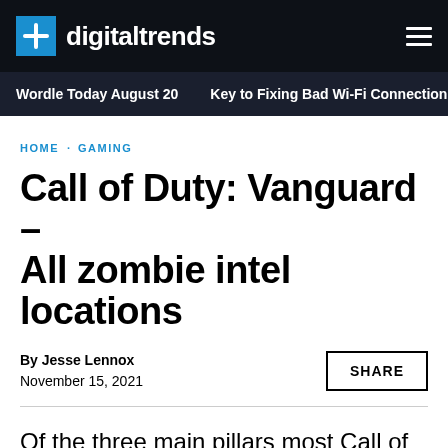digitaltrends
Wordle Today August 20   Key to Fixing Bad Wi-Fi Connection
HOME · GAMING
Call of Duty: Vanguard – All zombie intel locations
By Jesse Lennox
November 15, 2021
SHARE
Of the three main pillars most Call of Duty games are built on — campaign, multiplayer,